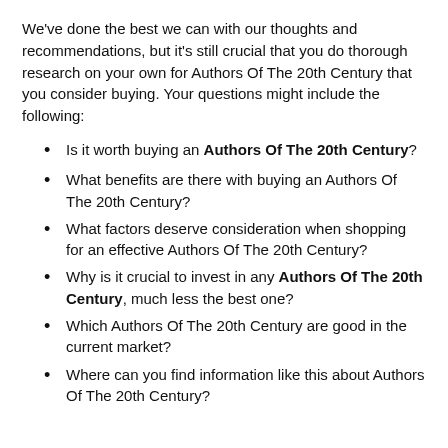We've done the best we can with our thoughts and recommendations, but it's still crucial that you do thorough research on your own for Authors Of The 20th Century that you consider buying. Your questions might include the following:
Is it worth buying an Authors Of The 20th Century?
What benefits are there with buying an Authors Of The 20th Century?
What factors deserve consideration when shopping for an effective Authors Of The 20th Century?
Why is it crucial to invest in any Authors Of The 20th Century, much less the best one?
Which Authors Of The 20th Century are good in the current market?
Where can you find information like this about Authors Of The 20th Century?